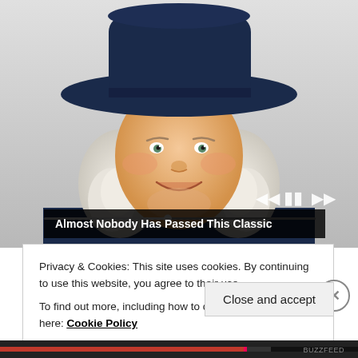[Figure (illustration): Illustration of the Quaker Oats man mascot — a smiling older gentleman with white curly hair, wearing a dark navy coat with white cravat and a wide-brimmed dark navy hat, set against a light gray background. Media player controls (skip back, pause, skip forward) and a progress bar are overlaid at the bottom of the image.]
Almost Nobody Has Passed This Classic
Privacy & Cookies: This site uses cookies. By continuing to use this website, you agree to their use.
To find out more, including how to control cookies, see here: Cookie Policy
Close and accept